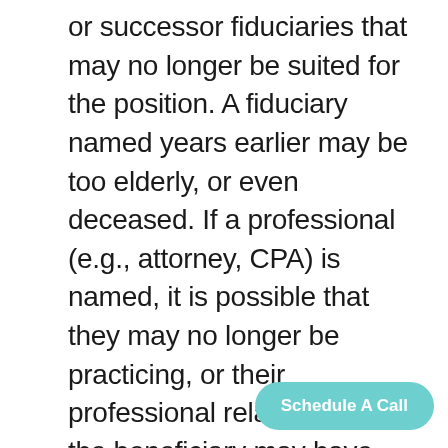or successor fiduciaries that may no longer be suited for the position. A fiduciary named years earlier may be too elderly, or even deceased. If a professional (e.g., attorney, CPA) is named, it is possible that they may no longer be practicing, or their professional relationship with the beneficiary may have since ended. Even named corporations, which we generally assume to exist in perpetuity, may have merged with or been acquired by another entity. And children who may have been too young to serve when the documents were created could now be capable of taking on the rol
Schedule A Call